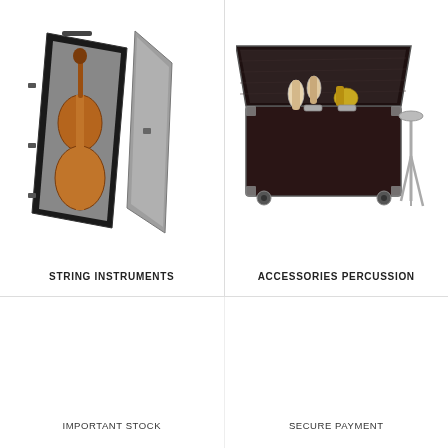[Figure (photo): Open flight case containing a double bass / cello string instrument, black exterior, wooden interior]
STRING INSTRUMENTS
[Figure (photo): Open dark road case / trunk with percussion accessories inside, mounted on wheels with a stand beside it]
ACCESSORIES PERCUSSION
IMPORTANT STOCK
SECURE PAYMENT